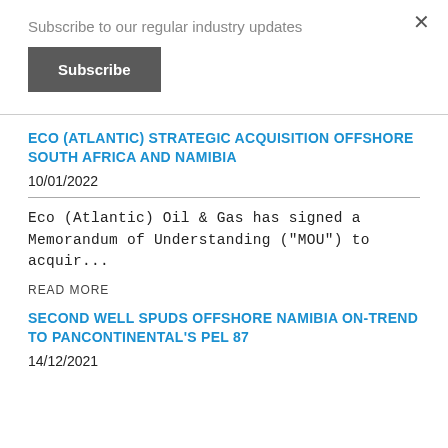Subscribe to our regular industry updates
Subscribe
ECO (ATLANTIC) STRATEGIC ACQUISITION OFFSHORE SOUTH AFRICA AND NAMIBIA
10/01/2022
Eco (Atlantic) Oil & Gas has signed a Memorandum of Understanding ("MOU") to acquir...
READ MORE
SECOND WELL SPUDS OFFSHORE NAMIBIA ON-TREND TO PANCONTINENTAL'S PEL 87
14/12/2021